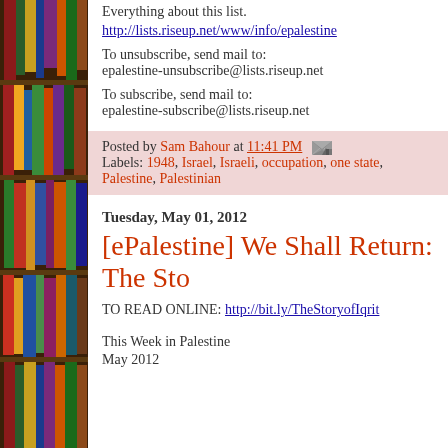Everything about this list:
http://lists.riseup.net/www/info/epalestine
To unsubscribe, send mail to:
epalestine-unsubscribe@lists.riseup.net
To subscribe, send mail to:
epalestine-subscribe@lists.riseup.net
Posted by Sam Bahour at 11:41 PM
Labels: 1948, Israel, Israeli, occupation, one state, Palestine, Palestinian
Tuesday, May 01, 2012
[ePalestine] We Shall Return: The Sto
TO READ ONLINE: http://bit.ly/TheStoryofIqrit
This Week in Palestine
May 2012